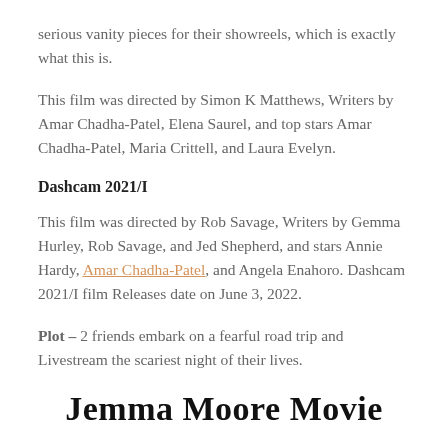serious vanity pieces for their showreels, which is exactly what this is.
This film was directed by Simon K Matthews, Writers by Amar Chadha-Patel, Elena Saurel, and top stars Amar Chadha-Patel, Maria Crittell, and Laura Evelyn.
Dashcam 2021/I
This film was directed by Rob Savage, Writers by Gemma Hurley, Rob Savage, and Jed Shepherd, and stars Annie Hardy, Amar Chadha-Patel, and Angela Enahoro. Dashcam 2021/I film Releases date on June 3, 2022.
Plot – 2 friends embark on a fearful road trip and Livestream the scariest night of their lives.
Jemma Moore Movie